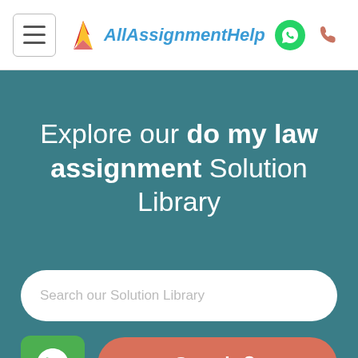AllAssignmentHelp
Explore our do my law assignment Solution Library
Search our Solution Library
Search